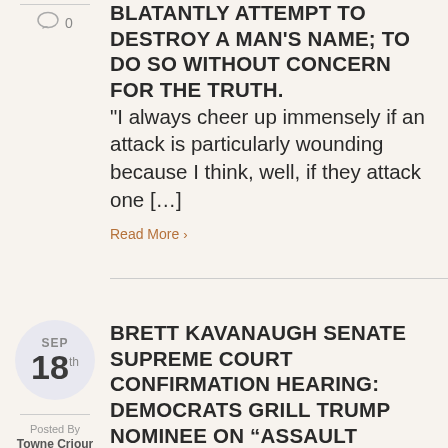BLATANTLY ATTEMPT TO DESTROY A MAN'S NAME; TO DO SO WITHOUT CONCERN FOR THE TRUTH. “I always cheer up immensely if an attack is particularly wounding because I think, well, if they attack one […]
Read More >
SEP 18th
BRETT KAVANAUGH SENATE SUPREME COURT CONFIRMATION HEARING: DEMOCRATS GRILL TRUMP NOMINEE ON “ASSAULT WEAPONS.”
Posted By Towne Criour
DO NOT FOR ONE INSTANCE BE TAKEN IN BY FALSE CLAIMS OF DEMOCRATS THAT “ASSAULT...